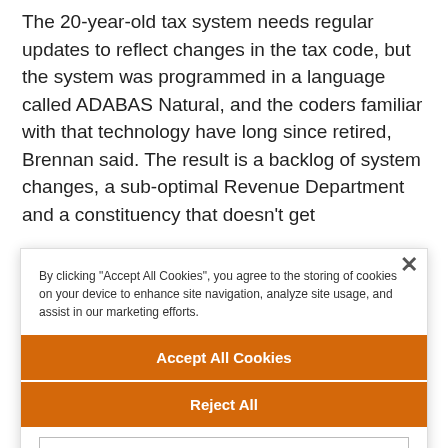The 20-year-old tax system needs regular updates to reflect changes in the tax code, but the system was programmed in a language called ADABAS Natural, and the coders familiar with that technology have long since retired, Brennan said. The result is a backlog of system changes, a sub-optimal Revenue Department and a constituency that doesn't get
By clicking "Accept All Cookies", you agree to the storing of cookies on your device to enhance site navigation, analyze site usage, and assist in our marketing efforts.
Accept All Cookies
Reject All
Cookies Settings